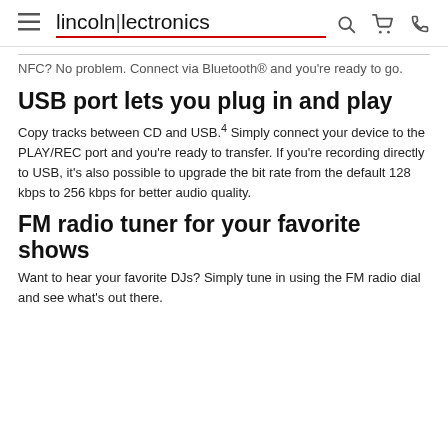lincolnlectronics (with hamburger menu, search, cart, phone icons)
NFC? No problem. Connect via Bluetooth® and you're ready to go.
USB port lets you plug in and play
Copy tracks between CD and USB.4 Simply connect your device to the PLAY/REC port and you're ready to transfer. If you're recording directly to USB, it's also possible to upgrade the bit rate from the default 128 kbps to 256 kbps for better audio quality.
FM radio tuner for your favorite shows
Want to hear your favorite DJs? Simply tune in using the FM radio dial and see what's out there.